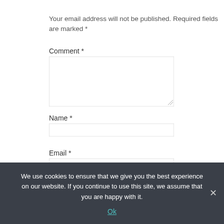Your email address will not be published. Required fields are marked *
Comment *
Name *
Email *
We use cookies to ensure that we give you the best experience on our website. If you continue to use this site, we assume that you are happy with it.
Ok